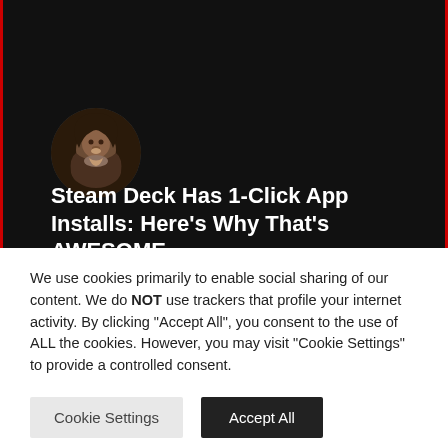[Figure (photo): A man with long dark hair and a beard, shown as a circular avatar photo on a dark background]
Steam Deck Has 1-Click App Installs: Here's Why That's AWESOME
READ MORE »
We use cookies primarily to enable social sharing of our content. We do NOT use trackers that profile your internet activity. By clicking "Accept All", you consent to the use of ALL the cookies. However, you may visit "Cookie Settings" to provide a controlled consent.
Cookie Settings | Accept All